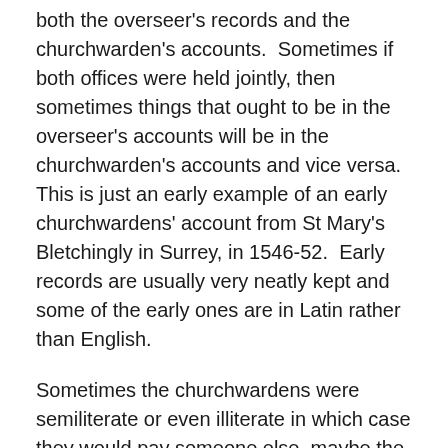both the overseer's records and the churchwarden's accounts.  Sometimes if both offices were held jointly, then sometimes things that ought to be in the overseer's accounts will be in the churchwarden's accounts and vice versa.  This is just an early example of an early churchwardens' account from St Mary's Bletchingly in Surrey, in 1546-52.  Early records are usually very neatly kept and some of the early ones are in Latin rather than English.
Sometimes the churchwardens were semiliterate or even illiterate in which case they would pay someone else, maybe the curate or a clerk to actually write up their accounts for them and you could find that actually in the accounts: 'paid so and so for writing up the accounts'.  They usually,